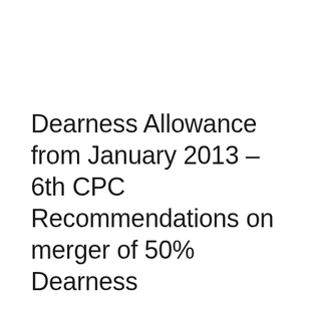Dearness Allowance from January 2013 – 6th CPC Recommendations on merger of 50% Dearness